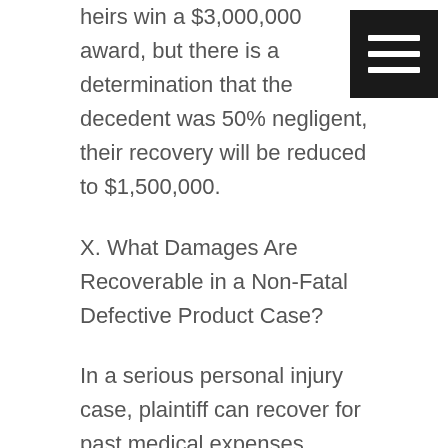heirs win a $3,000,000 award, but there is a determination that the decedent was 50% negligent, their recovery will be reduced to $1,500,000.
X. What Damages Are Recoverable in a Non-Fatal Defective Product Case?
In a serious personal injury case, plaintiff can recover for past medical expenses, future predicted medical expenses, past wage loss, future predicted wage loss and for past and future pain and suffering.
The medical expenses are determined by the